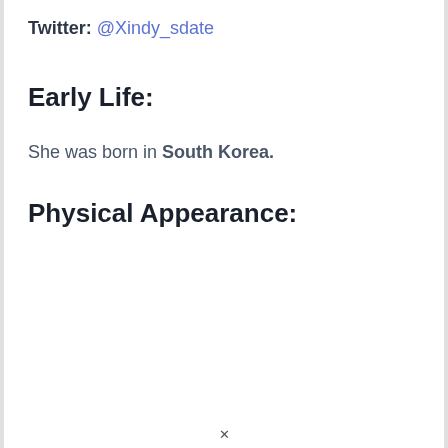Twitter: @Xindy_sdate
Early Life:
She was born in South Korea.
Physical Appearance:
[Figure (other): Advertisement placeholder box with a circle avatar and two gray placeholder lines, with a yellow banner at the bottom and a close (X) button in the top right corner.]